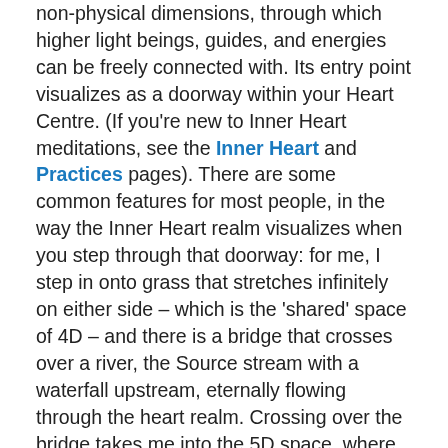non-physical dimensions, through which higher light beings, guides, and energies can be freely connected with. Its entry point visualizes as a doorway within your Heart Centre. (If you're new to Inner Heart meditations, see the Inner Heart and Practices pages). There are some common features for most people, in the way the Inner Heart realm visualizes when you step through that doorway: for me, I step in onto grass that stretches infinitely on either side – which is the 'shared' space of 4D – and there is a bridge that crosses over a river, the Source stream with a waterfall upstream, eternally flowing through the heart realm. Crossing over the bridge takes me into the 5D space, where there is a temple (Inner Heart Temple), forests, bays and mountains in which I consciously create, every day. Everything shows visually in the Inner Heart, all your energies, feelings, states of consciousness, as well as ego blocks and any attaching